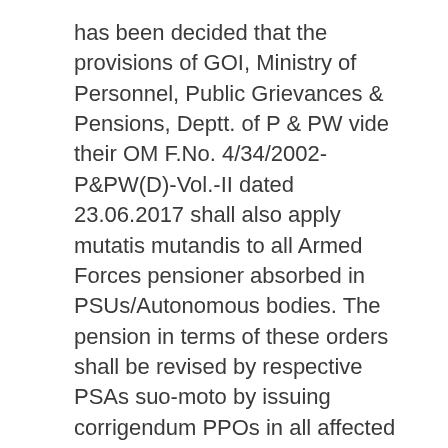has been decided that the provisions of GOI, Ministry of Personnel, Public Grievances & Pensions, Deptt. of P & PW vide their OM F.No. 4/34/2002-P&PW(D)-Vol.-II dated 23.06.2017 shall also apply mutatis mutandis to all Armed Forces pensioner absorbed in PSUs/Autonomous bodies. The pension in terms of these orders shall be revised by respective PSAs suo-moto by issuing corrigendum PPOs in all affected cases. No application in this regard shall be called for either from the pensioners or from the PDAs concerned.
The concerned operative sections may identify effected cases and issue corrigendum PPOs in terms of ibid Govt. letter dated 18.09.2017 on priority basis